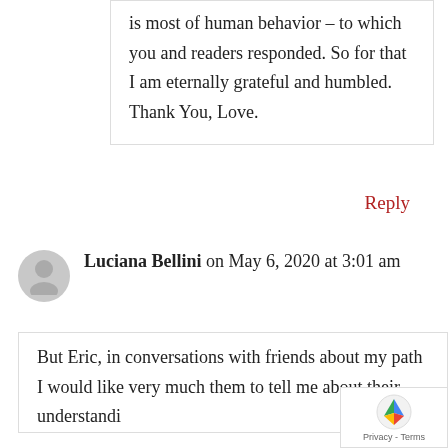is most of human behavior – to which you and readers responded. So for that I am eternally grateful and humbled. Thank You, Love.
Reply
Luciana Bellini on May 6, 2020 at 3:01 am
But Eric, in conversations with friends about my path I would like very much them to tell me about their understandi